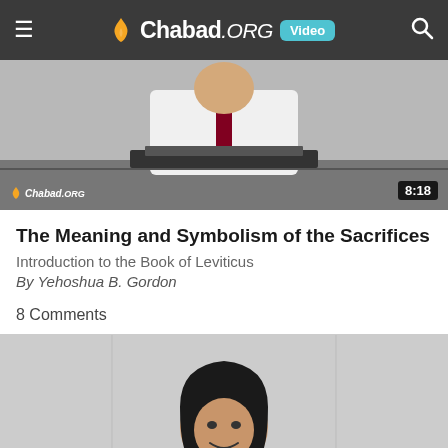Chabad.ORG Video
[Figure (screenshot): Video thumbnail showing a person at a desk with books, Chabad.ORG watermark and 8:18 duration badge]
The Meaning and Symbolism of the Sacrifices
Introduction to the Book of Leviticus
By Yehoshua B. Gordon
8 Comments
[Figure (photo): Photo of a smiling woman with dark hair wearing a purple outfit and necklace, seated at a table]